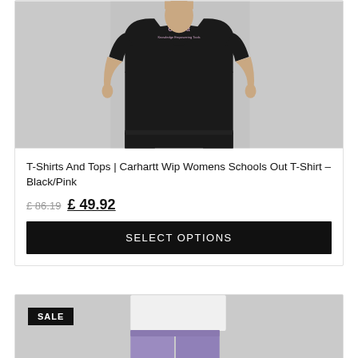[Figure (photo): Model wearing a black Carhartt WIP graphic T-shirt with logo on chest, paired with black wide-leg trousers, photographed against a light grey background]
T-Shirts And Tops | Carhartt Wip Womens Schools Out T-Shirt – Black/Pink
£ 86.19  £ 49.92
SELECT OPTIONS
[Figure (photo): Partial view of a second product card showing a model in a white top and purple/lavender shorts with a SALE badge]